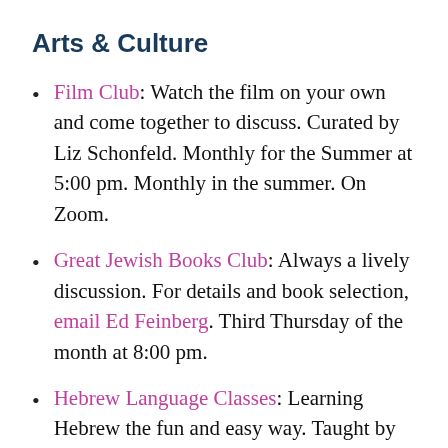Arts & Culture
Film Club: Watch the film on your own and come together to discuss. Curated by Liz Schonfeld. Monthly for the Summer at 5:00 pm. Monthly in the summer. On Zoom.
Great Jewish Books Club: Always a lively discussion. For details and book selection, email Ed Feinberg. Third Thursday of the month at 8:00 pm.
Hebrew Language Classes: Learning Hebrew the fun and easy way. Taught by Nili Ionascu. Tuesdays starting again in the Fall; Advanced: 10 am,